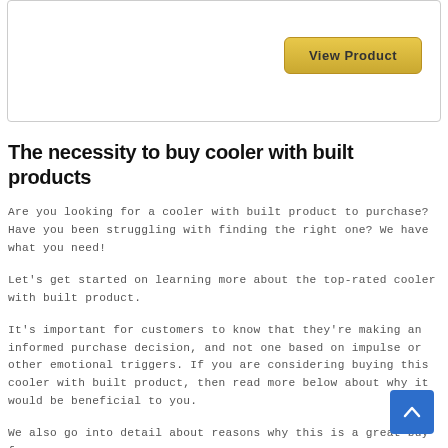[Figure (other): Card box with a View Product button in the upper right area]
The necessity to buy cooler with built products
Are you looking for a cooler with built product to purchase? Have you been struggling with finding the right one? We have what you need!
Let's get started on learning more about the top-rated cooler with built product.
It's important for customers to know that they're making an informed purchase decision, and not one based on impulse or other emotional triggers. If you are considering buying this cooler with built product, then read more below about why it would be beneficial to you.
We also go into detail about reasons why this is a great buy for